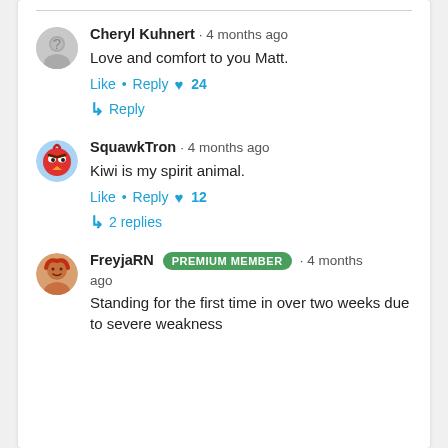Cheryl Kuhnert · 4 months ago
Love and comfort to you Matt.
Like · Reply ♥ 24
↳ Reply
SquawkTron · 4 months ago
Kiwi is my spirit animal.
Like · Reply ♥ 12
↳ 2 replies
FreyjaRN PREMIUM MEMBER · 4 months ago
Standing for the first time in over two weeks due to severe weakness